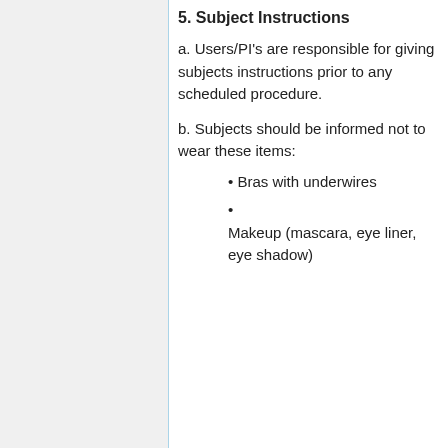5. Subject Instructions
a. Users/PI's are responsible for giving subjects instructions prior to any scheduled procedure.
b. Subjects should be informed not to wear these items:
• Bras with underwires
• Makeup (mascara, eye liner, eye shadow)